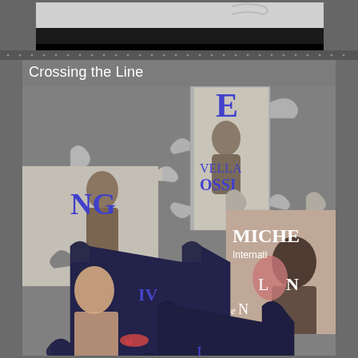[Figure (illustration): Top portion showing a partially visible book cover strip with decorative dotted border on a dark gray background]
Crossing the Line
[Figure (illustration): Jigsaw puzzle pieces scattered on a gray textured background. Puzzle pieces show fragments of book covers with text including 'E', 'ELLA', 'NG', 'OSSI', 'MICHE', 'Internati', 'IV', 'OF THE', and figure images of people. Pieces are in gray stone texture and dark navy blue colors.]